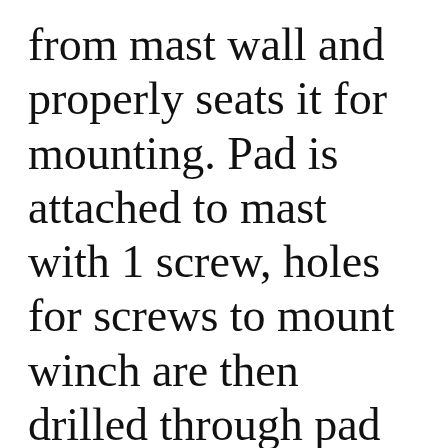from mast wall and properly seats it for mounting. Pad is attached to mast with 1 screw, holes for screws to mount winch are then drilled through pad and tapped in mast wall